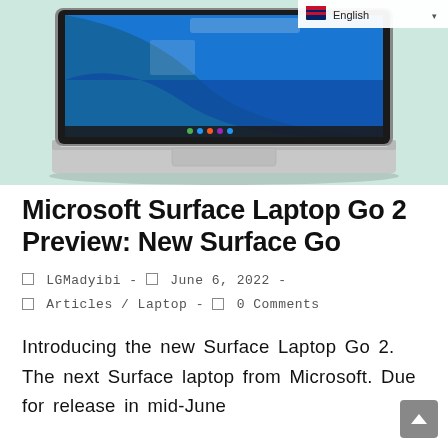[Figure (photo): Microsoft Surface Laptop Go 2 shown open, displaying Windows 11 interface with a blue wallpaper. The laptop has a light silver/platinum aluminum body with a full keyboard. Background is a light mint/teal color.]
Microsoft Surface Laptop Go 2 Preview: New Surface Go
🗐 LGMadyibi - 🗐 June 6, 2022 - 🗐 Articles / Laptop - 🗐 0 Comments
Introducing the new Surface Laptop Go 2. The next Surface laptop from Microsoft. Due for release in mid-June